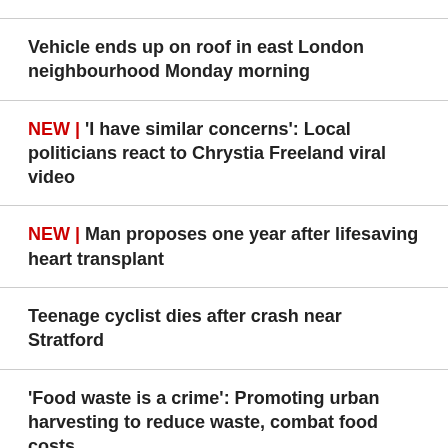Vehicle ends up on roof in east London neighbourhood Monday morning
NEW | 'I have similar concerns': Local politicians react to Chrystia Freeland viral video
NEW | Man proposes one year after lifesaving heart transplant
Teenage cyclist dies after crash near Stratford
'Food waste is a crime': Promoting urban harvesting to reduce waste, combat food costs